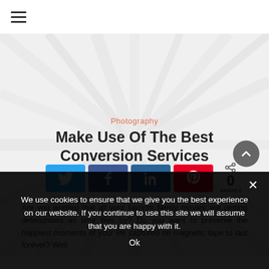☰ (hamburger menu)
[Figure (photo): Hero image with radiating lines / fiber optic style background, light gray tones]
Photography
Make Use Of The Best Conversion Services
[Figure (infographic): Social share buttons row: Twitter (blue), Facebook (dark blue), LinkedIn (dark blue), Pinterest (red), and a share count showing 0 SHARES]
Are you worried that all your favorite family movies are getting deteriorated as time flies by? Do you want to preserve the happiest moments of your life captured on magnetic tape to last forever? Well
We use cookies to ensure that we give you the best experience on our website. If you continue to use this site we will assume that you are happy with it.
Ok